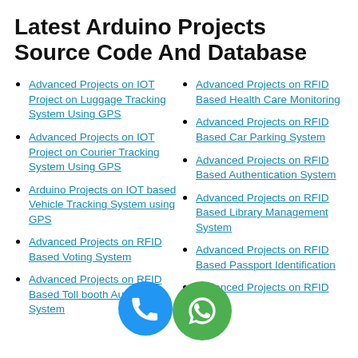Latest Arduino Projects Source Code And Database
Advanced Projects on IOT Project on Luggage Tracking System Using GPS
Advanced Projects on IOT Project on Courier Tracking System Using GPS
Arduino Projects on IOT based Vehicle Tracking System using GPS
Advanced Projects on RFID Based Voting System
Advanced Projects on RFID Based Toll booth Automation System
Advanced Projects on RFID Based Health Care Monitoring
Advanced Projects on RFID Based Car Parking System
Advanced Projects on RFID Based Authentication System
Advanced Projects on RFID Based Library Management System
Advanced Projects on RFID Based Passport Identification
Advanced Projects on RFID